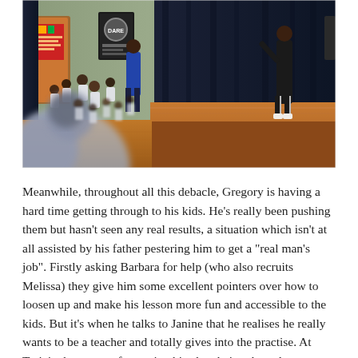[Figure (photo): A school auditorium or gymnasium scene showing children seated on the floor in white uniforms watching a performance or presentation on a wooden stage. A person in dark clothing stands on the stage at right, and another person in a blue shirt stands near the stage at left-center. A DARE poster and colorful decorations are visible on the back walls. Dark curtains frame the stage.]
Meanwhile, throughout all this debacle, Gregory is having a hard time getting through to his kids. He's really been pushing them but hasn't seen any real results, a situation which isn't at all assisted by his father pestering him to get a "real man's job". Firstly asking Barbara for help (who also recruits Melissa) they give him some excellent pointers over how to loosen up and make his lesson more fun and accessible to the kids. But it's when he talks to Janine that he realises he really wants to be a teacher and totally gives into the practise. At Tariq's showcase, after seeing his class being the only ones holding back, he starts dancing as a means to connect with them, and we later see him incorporating the dancing in the classroom as well, and the kids